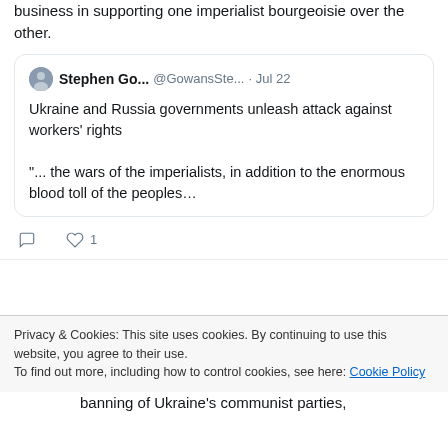business in supporting one imperialist bourgeoisie over the other.
Stephen Go... @GowansSte... · Jul 22
Ukraine and Russia governments unleash attack against workers' rights

"... the wars of the imperialists, in addition to the enormous blood toll of the peoples…
Leading Light Retweeted
Stephen Gowans @GowansStephen · Jul 12
Privacy & Cookies: This site uses cookies. By continuing to use this website, you agree to their use.
To find out more, including how to control cookies, see here: Cookie Policy
Close and accept
banning of Ukraine's communist parties,